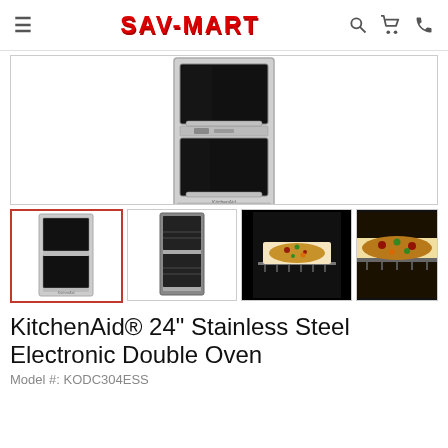SAV-MART
[Figure (photo): KitchenAid double wall oven product photo, front view, stainless steel finish, open oven door showing interior]
[Figure (photo): Thumbnail 1: KitchenAid double wall oven front view]
[Figure (photo): Thumbnail 2: KitchenAid double wall oven side/angle view showing racks]
[Figure (photo): Thumbnail 3: Bread/pizza baking inside oven on rack]
[Figure (photo): Thumbnail 4: Bread baking inside oven close-up]
KitchenAid® 24" Stainless Steel Electronic Double Oven
Model #: KODC304ESS